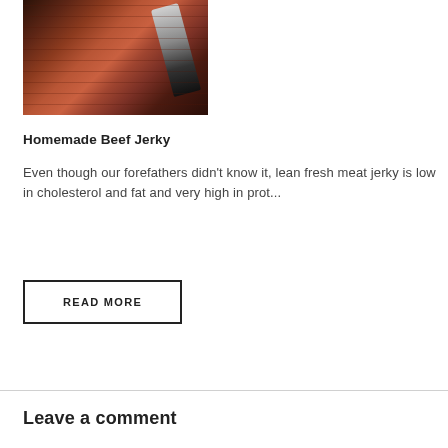[Figure (photo): Close-up photo of homemade beef jerky being sliced with a knife, showing dark charred exterior and reddish-brown meat interior]
Homemade Beef Jerky
Even though our forefathers didn't know it, lean fresh meat jerky is low in cholesterol and fat and very high in prot...
READ MORE
Leave a comment